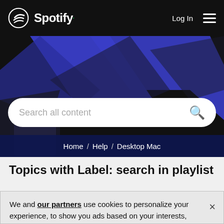Spotify — Log In
[Figure (screenshot): Spotify website header with black navigation bar containing Spotify logo (icon + wordmark), 'Log In' text and hamburger menu on the right. Below is a blue geometric abstract hero background with diagonal shapes.]
Search all content
Home / Help / Desktop Mac
Topics with Label: search in playlist
We and our partners use cookies to personalize your experience, to show you ads based on your interests, and for measurement and analytics purposes. By using our website and services, you agree to our use of